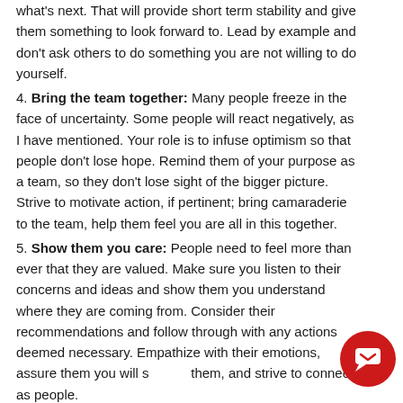what's next. That will provide short term stability and give them something to look forward to. Lead by example and don't ask others to do something you are not willing to do yourself.
4. Bring the team together: Many people freeze in the face of uncertainty. Some people will react negatively, as I have mentioned. Your role is to infuse optimism so that people don't lose hope. Remind them of your purpose as a team, so they don't lose sight of the bigger picture. Strive to motivate action, if pertinent; bring camaraderie to the team, help them feel you are all in this together.
5. Show them you care: People need to feel more than ever that they are valued. Make sure you listen to their concerns and ideas and show them you understand where they are coming from. Consider their recommendations and follow through with any actions deemed necessary. Empathize with their emotions, assure them you will support them, and strive to connect as people.